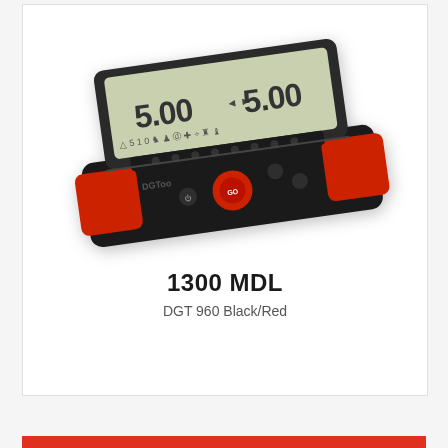[Figure (photo): DGT 960 chess clock in black and red color, shown at a slight angle. The device has a digital LCD display showing '5.00' on each side, red paddle buttons on left and right sides, a central red round button, and additional control buttons. The DGT logo is visible on the front.]
1300 MDL
DGT 960 Black/Red